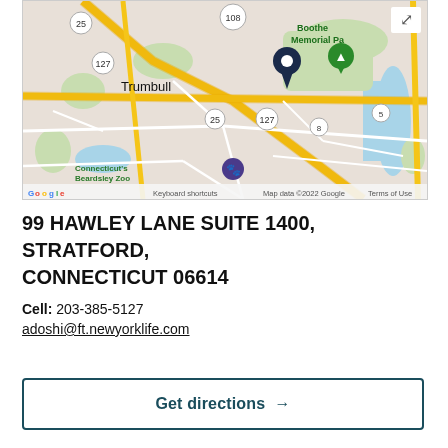[Figure (map): Google Maps screenshot showing the area around 99 Hawley Lane, Stratford, Connecticut. Visible landmarks include Trumbull label, Connecticut's Beardsley Zoo, Boothe Memorial Park, route numbers 25, 108, 127, 8, and 5. A black location pin marks the address. A green tree-icon pin marks Boothe Memorial Park. Map footer shows Google logo, 'Keyboard shortcuts', 'Map data ©2022 Google', 'Terms of Use'.]
99 HAWLEY LANE SUITE 1400, STRATFORD, CONNECTICUT 06614
Cell: 203-385-5127
adoshi@ft.newyorklife.com
Get directions →